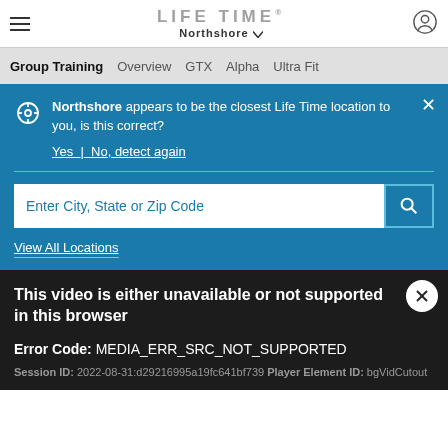LIFE TIME Northshore
Group Training  Overview  GTX  Alpha  Ultra Fit
Northshore appears to be the closest Life Time location to you, is this correct?
Yes | No, detect again
Enter City, State or Zip Code
View All Locations
This video is either unavailable or not supported in this browser
Error Code: MEDIA_ERR_SRC_NOT_SUPPORTED
Session ID: 2022-08-31:d29216995a19fc641bf739 Player Element ID: bgVidCutout